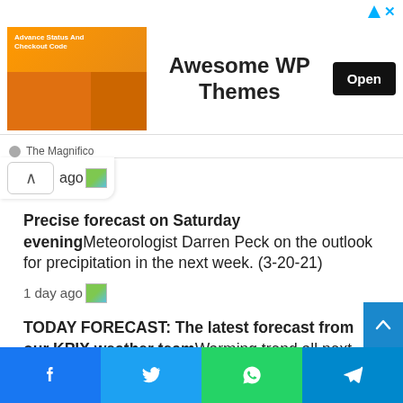[Figure (screenshot): Advertisement banner for 'Awesome WP Themes' with orange image on left, bold text in center, and black 'Open' button on right. Footer shows 'The Magnifico' branding.]
ago
Precise forecast on Saturday eveningMeteorologist Darren Peck on the outlook for precipitation in the next week. (3-20-21)
1 day ago
TODAY FORECAST: The latest forecast from our KPIX weather teamWarming trend all next week with no rain in sight
2 days ago